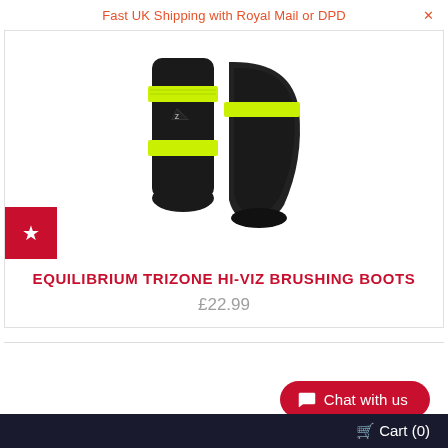Fast UK Shipping with Royal Mail or DPD
[Figure (photo): Two Equilibrium Trizone Hi-Viz brushing boots for horses — black neoprene with bright yellow-green (hi-viz) velcro straps. Left boot shows front face with logo patch, right boot shows side profile with hard shell.]
EQUILIBRIUM TRIZONE HI-VIZ BRUSHING BOOTS
£22.99
Chat with us
Cart (0)